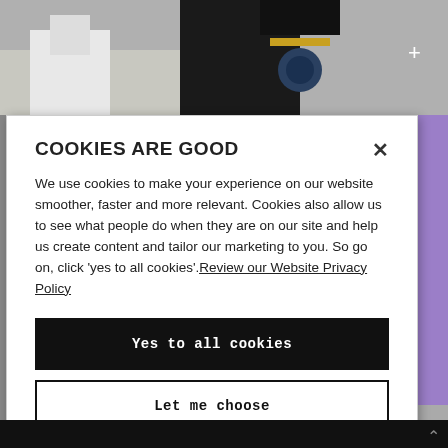[Figure (photo): Laboratory scene with microscope and camera equipment in foreground, researcher in background working at a computer/tablet. Background visible above and to the right of a white cookie consent modal.]
COOKIES ARE GOOD
We use cookies to make your experience on our website smoother, faster and more relevant. Cookies also allow us to see what people do when they are on our site and help us create content and tailor our marketing to you. So go on, click 'yes to all cookies'. Review our Website Privacy Policy
Yes to all cookies
Let me choose